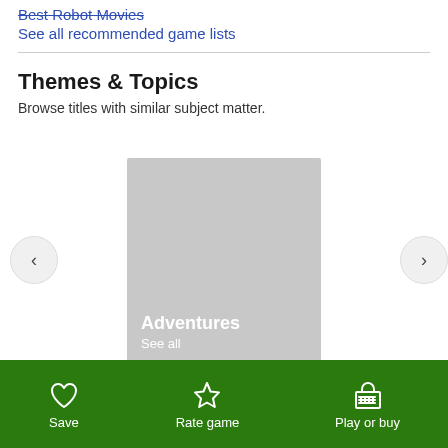Best Robot Movies
See all recommended game lists
Themes & Topics
Browse titles with similar subject matter.
[Figure (screenshot): Carousel card showing a gray placeholder image with 'Adventures' title and 'See all' link, flanked by left and right navigation arrows]
Save | Rate game | Play or buy